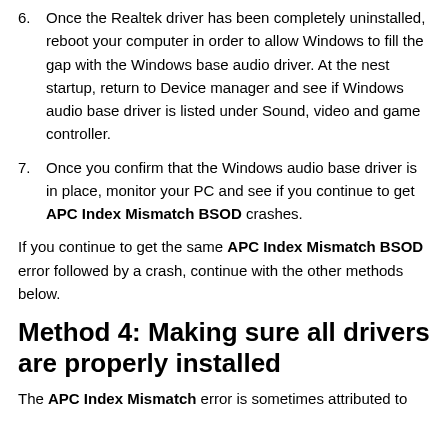6. Once the Realtek driver has been completely uninstalled, reboot your computer in order to allow Windows to fill the gap with the Windows base audio driver. At the nest startup, return to Device manager and see if Windows audio base driver is listed under Sound, video and game controller.
7. Once you confirm that the Windows audio base driver is in place, monitor your PC and see if you continue to get APC Index Mismatch BSOD crashes.
If you continue to get the same APC Index Mismatch BSOD error followed by a crash, continue with the other methods below.
Method 4: Making sure all drivers are properly installed
The APC Index Mismatch error is sometimes attributed to